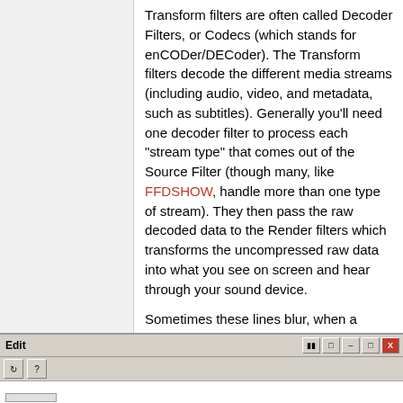Transform filters are often called Decoder Filters, or Codecs (which stands for enCODer/DECoder). The Transform filters decode the different media streams (including audio, video, and metadata, such as subtitles). Generally you'll need one decoder filter to process each "stream type" that comes out of the Source Filter (though many, like FFDSHOW, handle more than one type of stream). They then pass the raw decoded data to the Render filters which transforms the uncompressed raw data into what you see on screen and hear through your sound device.
Sometimes these lines blur, when a particular filter can act as both a splitter and a decoder filter (such as FFDSHOW), or Haali which also processes and decodes some of the data streams (subtitles for example).
[Figure (screenshot): A Windows dialog or application window partially visible, showing a title bar with Edit label, close/minimize/maximize buttons, a toolbar with two icon buttons, a progress bar element, and bottom input boxes.]